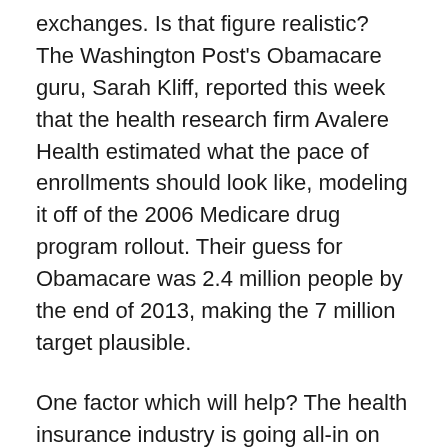exchanges. Is that figure realistic? The Washington Post's Obamacare guru, Sarah Kliff, reported this week that the health research firm Avalere Health estimated what the pace of enrollments should look like, modeling it off of the 2006 Medicare drug program rollout. Their guess for Obamacare was 2.4 million people by the end of 2013, making the 7 million target plausible.
One factor which will help? The health insurance industry is going all-in on the law. As the Wall Street Journal reported last month, health insurers are fighting for these millions of new customers. The Journal suggested that insurers will spend $500 million on local TV ads in 2014. Here's my favorite part of the article: “The ad campaigns are a major shift in strategy for health insurers, most of whom have never really had to market directly to